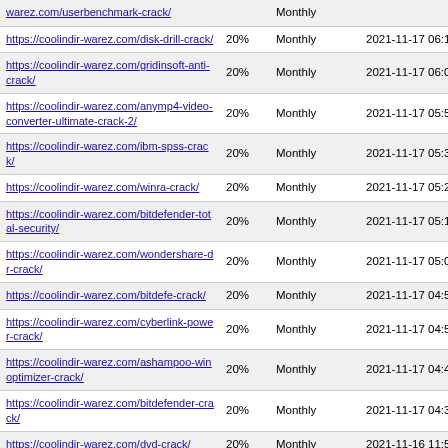| URL | Priority | Change Freq | Last Modified |
| --- | --- | --- | --- |
| https://coolindir-warez.com/userbenchmark-crack/ | 20% | Monthly | 2021-11-17 ... |
| https://coolindir-warez.com/disk-drill-crack/ | 20% | Monthly | 2021-11-17 06:11 |
| https://coolindir-warez.com/gridinsoft-anti-crack/ | 20% | Monthly | 2021-11-17 06:05 |
| https://coolindir-warez.com/anymp4-video-converter-ultimate-crack-2/ | 20% | Monthly | 2021-11-17 05:55 |
| https://coolindir-warez.com/ibm-spss-crack/ | 20% | Monthly | 2021-11-17 05:33 |
| https://coolindir-warez.com/winra-crack/ | 20% | Monthly | 2021-11-17 05:25 |
| https://coolindir-warez.com/bitdefender-total-security/ | 20% | Monthly | 2021-11-17 05:13 |
| https://coolindir-warez.com/wondershare-dr-crack/ | 20% | Monthly | 2021-11-17 05:04 |
| https://coolindir-warez.com/bitdefe-crack/ | 20% | Monthly | 2021-11-17 04:57 |
| https://coolindir-warez.com/cyberlink-power-crack/ | 20% | Monthly | 2021-11-17 04:50 |
| https://coolindir-warez.com/ashampoo-winoptimizer-crack/ | 20% | Monthly | 2021-11-17 04:45 |
| https://coolindir-warez.com/bitdefender-crack/ | 20% | Monthly | 2021-11-17 04:39 |
| https://coolindir-warez.com/dvd-crack/ | 20% | Monthly | 2021-11-16 11:59 |
| https://coolindir-warez.com/xmedia-recode-crack/ | 20% | Monthly | 2021-11-16 11:42 |
| https://coolindir-warez.com/spotify/ | 20% | Monthly | 2021-11-16 11:05 |
| https://coolindir-warez.com/hide-my-crack-2/ | 20% | Monthly | 2021-11-16 10:59 |
| https://coolindir-warez.com/ummy-video-crack-2/ | 20% | Monthly | 2021-11-16 10:25 |
| https://coolindir-warez.com/anydvd-... | 20% | Monthly | 2021-11-16 10:19 |